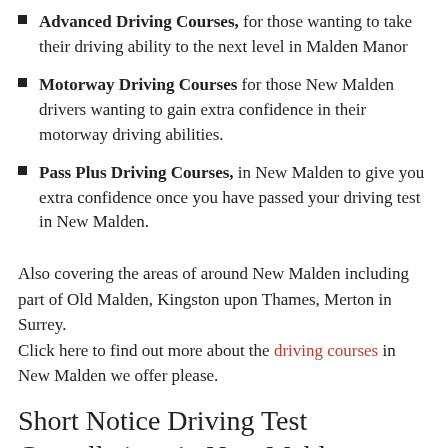Advanced Driving Courses, for those wanting to take their driving ability to the next level in Malden Manor
Motorway Driving Courses for those New Malden drivers wanting to gain extra confidence in their motorway driving abilities.
Pass Plus Driving Courses, in New Malden to give you extra confidence once you have passed your driving test in New Malden.
Also covering the areas of around New Malden including part of Old Malden, Kingston upon Thames, Merton in Surrey.
Click here to find out more about the driving courses in New Malden we offer please.
Short Notice Driving Test Cancellations in New Malden